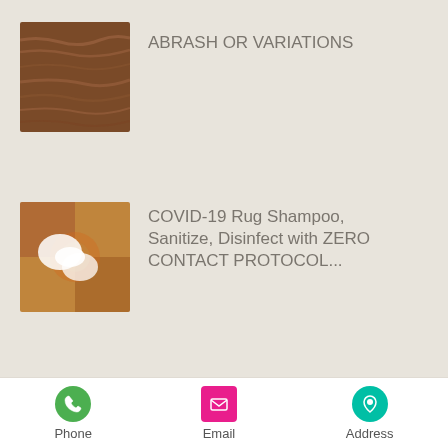[Figure (photo): Thumbnail image of wood grain texture, warm brown tones]
ABRASH OR VARIATIONS
[Figure (photo): Thumbnail image of rug cleaning with foam/shampoo being applied]
COVID-19 Rug Shampoo, Sanitize, Disinfect with ZERO CONTACT PROTOCOL...
[Figure (photo): Thumbnail image of hands repairing a colorful rug]
RUG DAMAGES AND REPAIR AND RESTORATION SOLUTIONS
Phone  Email  Address